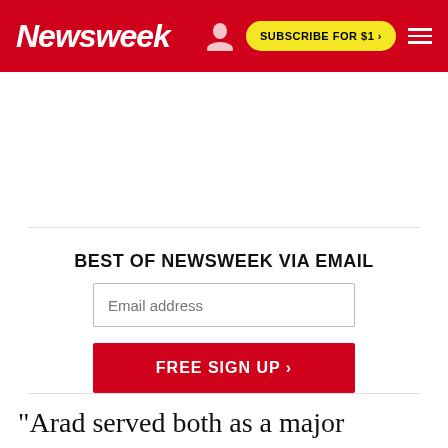Newsweek
[Figure (other): White advertisement space below the Newsweek header]
BEST OF NEWSWEEK VIA EMAIL
Email address
FREE SIGN UP >
"Arad served both as a major military fortress at the border of the kingdom and as a